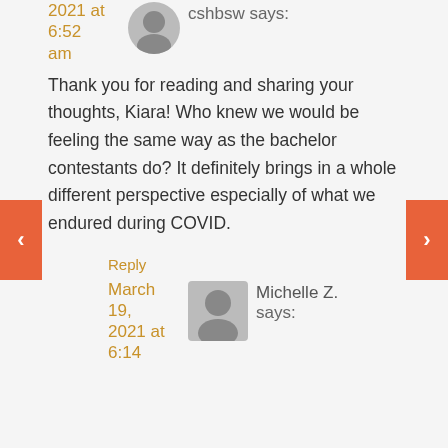2021 at 6:52 am
cshbsw says:
Thank you for reading and sharing your thoughts, Kiara! Who knew we would be feeling the same way as the bachelor contestants do? It definitely brings in a whole different perspective especially of what we endured during COVID.
Reply
March 19, 2021 at 6:14
Michelle Z. says: